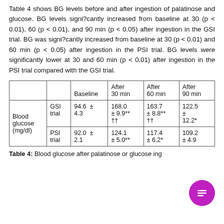Table 4 shows BG levels before and after ingestion of palatinose and glucose. BG levels significantly increased from baseline at 30 (p < 0.01), 60 (p < 0.01), and 90 min (p < 0.05) after ingestion in the GSI trial. BG was significantly increased from baseline at 30 (p < 0.01) and 60 min (p < 0.05) after ingestion in the PSI trial. BG levels were significantly lower at 30 and 60 min (p < 0.01) after ingestion in the PSI trial compared with the GSI trial.
|  |  | Baseline | After 30 min | After 60 min | After 90 min |
| --- | --- | --- | --- | --- | --- |
| Blood glucose (mg/dl) | GSI trial | 94.6 ± 4.3 | 168.0 ± 9.9** †† | 163.7 ± 8.8** †† | 122.5 ± 12.2* |
|  | PSI trial | 92.0 ± 2.1 | 124.1 ± 5.0** | 117.4 ± 6.2* | 109.2 ± 4.9 |
Table 4: Blood glucose after palatinose or glucose ing...